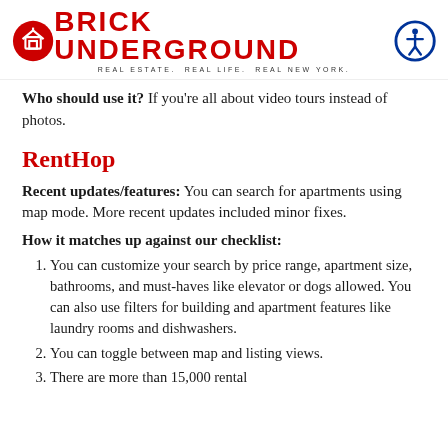BRICK UNDERGROUND — REAL ESTATE. REAL LIFE. REAL NEW YORK.
Who should use it?  If you're all about video tours instead of photos.
RentHop
Recent updates/features: You can search for apartments using map mode. More recent updates included minor fixes.
How it matches up against our checklist:
You can customize your search by price range, apartment size, bathrooms, and must-haves like elevator or dogs allowed. You can also use filters for building and apartment features like laundry rooms and dishwashers.
You can toggle between map and listing views.
There are more than 15,000 rental...